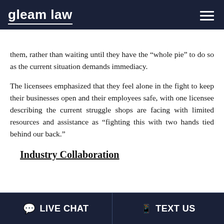gleam law
them, rather than waiting until they have the “whole pie” to do so as the current situation demands immediacy.
The licensees emphasized that they feel alone in the fight to keep their businesses open and their employees safe, with one licensee describing the current struggle shops are facing with limited resources and assistance as “fighting this with two hands tied behind our back.”
Industry Collaboration
LIVE CHAT   TEXT US